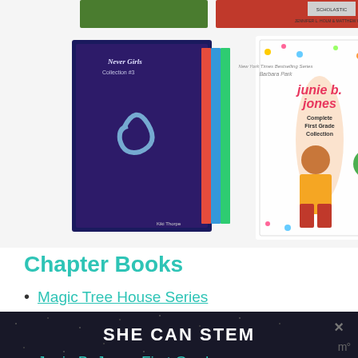[Figure (photo): Three children's book box sets: Never Girls Collection #3, Junie B. Jones Complete First Grade Collection, and Amelia Bedelia Boxed Set]
Chapter Books
Magic Tree House Series
Baby Mouse Graphic Novel
Rainbow Magic Series
Junie B. Jones First Grade
SHE CAN STEM